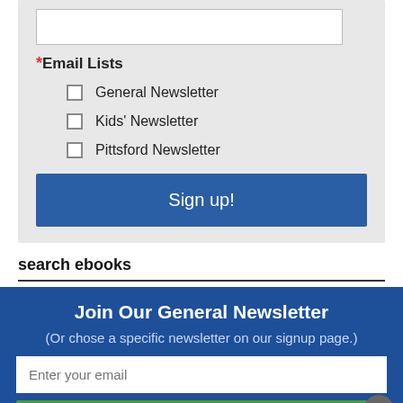*Email Lists
General Newsletter
Kids' Newsletter
Pittsford Newsletter
Sign up!
search ebooks
Join Our General Newsletter
(Or chose a specific newsletter on our signup page.)
Enter your email
Subscribe